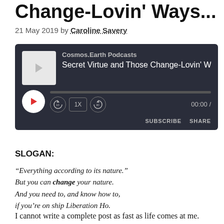Change-Lovin' Ways...
21 May 2019 by Caroline Savery
[Figure (other): Audio podcast player widget with dark background showing 'Cosmos.Earth Podcasts' and episode title 'Secret Virtue and Those Change-Lovin' W'. Controls include play button, rewind 10s, speed 1X, forward 30s, progress bar, time 00:00, SUBSCRIBE and SHARE buttons.]
SLOGAN:
“Everything according to its nature.”
But you can change your nature.
And you need to, and know how to,
if you’re on ship Liberation Ho.
I cannot write a complete post as fast as life comes at me.